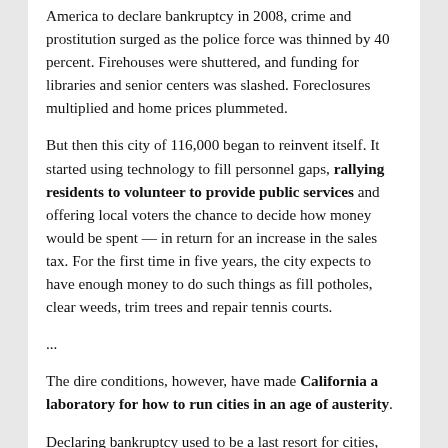America to declare bankruptcy in 2008, crime and prostitution surged as the police force was thinned by 40 percent. Firehouses were shuttered, and funding for libraries and senior centers was slashed. Foreclosures multiplied and home prices plummeted.
But then this city of 116,000 began to reinvent itself. It started using technology to fill personnel gaps, rallying residents to volunteer to provide public services and offering local voters the chance to decide how money would be spent — in return for an increase in the sales tax. For the first time in five years, the city expects to have enough money to do such things as fill potholes, clear weeds, trim trees and repair tennis courts.
...
The dire conditions, however, have made California a laboratory for how to run cities in an age of austerity.
Declaring bankruptcy used to be a last resort for cities,